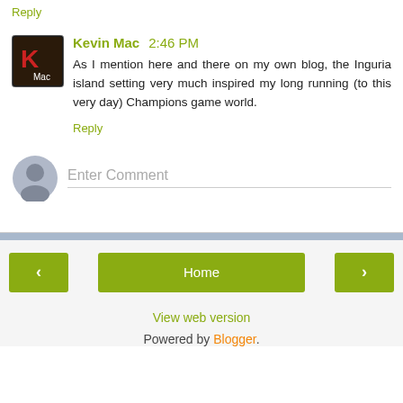Reply
Kevin Mac 2:46 PM
As I mention here and there on my own blog, the Inguria island setting very much inspired my long running (to this very day) Champions game world.
Reply
[Figure (screenshot): Enter Comment input field with generic user avatar icon]
[Figure (screenshot): Navigation bar with back arrow, Home button, and forward arrow buttons]
View web version
Powered by Blogger.